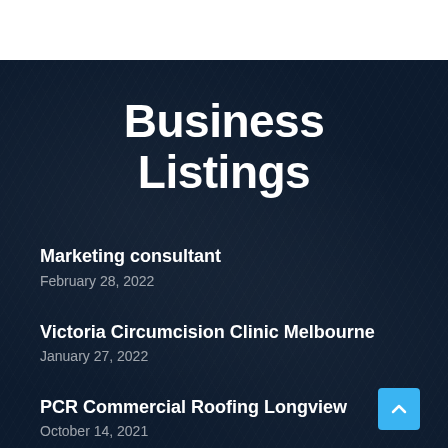Business Listings
Marketing consultant
February 28, 2022
Victoria Circumcision Clinic Melbourne
January 27, 2022
PCR Commercial Roofing Longview
October 14, 2021